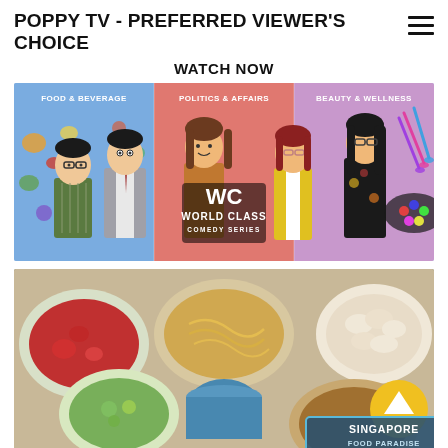POPPY TV - PREFERRED VIEWER'S CHOICE
WATCH NOW
[Figure (illustration): Banner image showing three cartoon characters representing Food & Beverage, Politics & Affairs, and Beauty & Wellness categories. Center shows 'WC WORLD CLASS COMEDY SERIES' logo.]
[Figure (photo): Food photo showing various Singapore dishes from overhead view with a label overlay reading 'SINGAPORE FOOD PARADISE' and a yellow scroll-up button.]